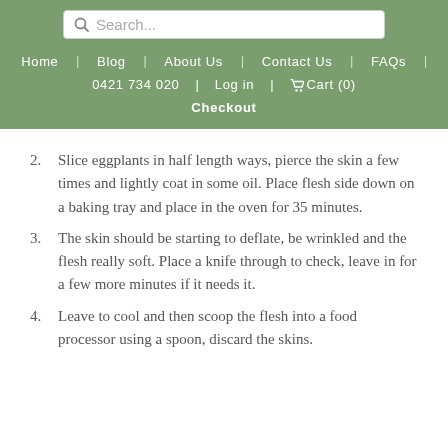Search... | Home | Blog | About Us | Contact Us | FAQs | 0421 734 020 | Log in | Cart (0) | Checkout
2. Slice eggplants in half length ways, pierce the skin a few times and lightly coat in some oil. Place flesh side down on a baking tray and place in the oven for 35 minutes.
3. The skin should be starting to deflate, be wrinkled and the flesh really soft. Place a knife through to check, leave in for a few more minutes if it needs it.
4. Leave to cool and then scoop the flesh into a food processor using a spoon, discard the skins.